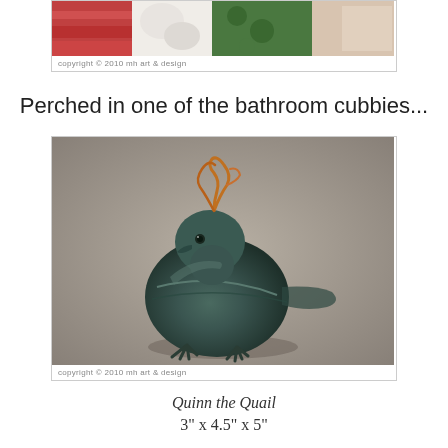[Figure (photo): Partial photo of bathroom cubbies with fabric and decorative items, with copyright watermark 'copyright © 2010 mh art & design']
Perched in one of the bathroom cubbies...
[Figure (photo): Ceramic quail sculpture named Quinn the Quail, dark teal/green glaze with copper wire curl on head, standing on clawed feet, with copyright watermark 'copyright © 2010 mh art & design']
Quinn the Quail
3" x 4.5" x 5"